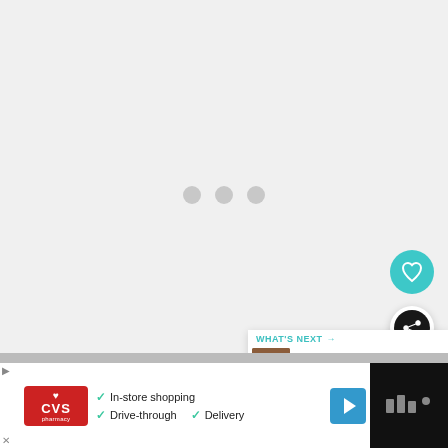[Figure (screenshot): Loading state of a web page - light gray background with three gray loading indicator dots centered in the upper portion]
[Figure (screenshot): Teal circular heart/favorite button on the right side]
[Figure (screenshot): White circular share button with dark circular icon on the right side]
[Figure (screenshot): What's Next card showing thumbnail and text '21 Ways to Use Wicker...' with teal header label and arrow]
[Figure (screenshot): CVS Pharmacy advertisement banner at bottom with checkmarks for In-store shopping, Drive-through, and Delivery features, with a teal navigation arrow icon on the right and a black sidebar with Wunderkind logo]